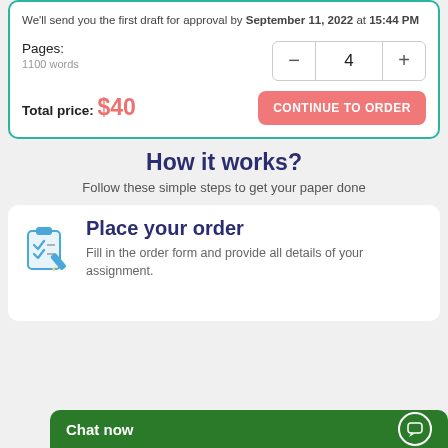We'll send you the first draft for approval by September 11, 2022 at 15:44 PM
Pages: 1100 words
Total price: $40
CONTINUE TO ORDER
How it works?
Follow these simple steps to get your paper done
Place your order
Fill in the order form and provide all details of your assignment.
Chat now